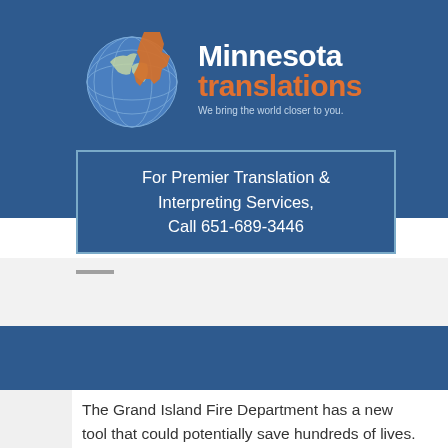[Figure (logo): Minnesota Translations logo with globe and Minnesota state silhouette icon, company name 'Minnesota translations' and tagline 'We bring the world closer to you.']
For Premier Translation & Interpreting Services, Call 651-689-3446
The Grand Island Fire Department has a new tool that could potentially save hundreds of lives. The device has only